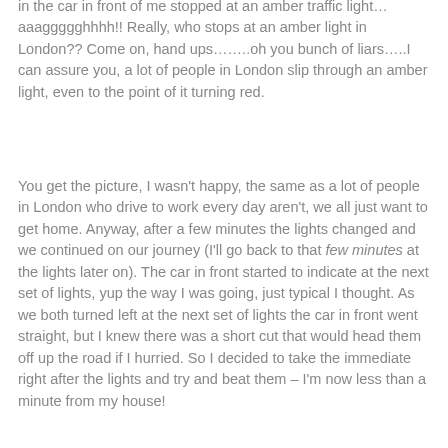in the car in front of me stopped at an amber traffic light…aaaggggghhhh!! Really, who stops at an amber light in London?? Come on, hand ups……..oh you bunch of liars…..I can assure you, a lot of people in London slip through an amber light, even to the point of it turning red.
You get the picture, I wasn't happy, the same as a lot of people in London who drive to work every day aren't, we all just want to get home. Anyway, after a few minutes the lights changed and we continued on our journey (I'll go back to that few minutes at the lights later on). The car in front started to indicate at the next set of lights, yup the way I was going, just typical I thought. As we both turned left at the next set of lights the car in front went straight, but I knew there was a short cut that would head them off up the road if I hurried. So I decided to take the immediate right after the lights and try and beat them – I'm now less than a minute from my house!